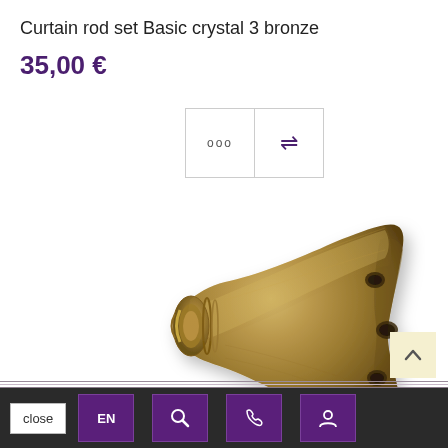Curtain rod set Basic crystal 3 bronze
35,00 €
[Figure (photo): Bronze/antique brass colored curtain rod finial - a trumpet-shaped end cap with circular flange at narrow end and wide flared opening, showing brushed metallic finish with mounting holes]
close  EN  [search]  [phone]  [user]